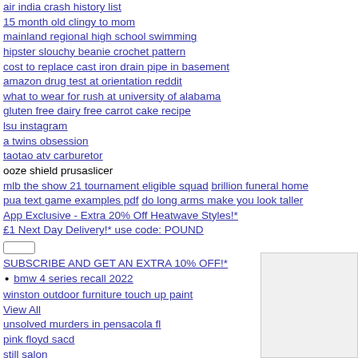air india crash history list
15 month old clingy to mom
mainland regional high school swimming
hipster slouchy beanie crochet pattern
cost to replace cast iron drain pipe in basement
amazon drug test at orientation reddit
what to wear for rush at university of alabama
gluten free dairy free carrot cake recipe
lsu instagram
a twins obsession
taotao atv carburetor
ooze shield prusaslicer
mlb the show 21 tournament eligible squad  brillion funeral home
pua text game examples pdf  do long arms make you look taller
App Exclusive - Extra 20% Off Heatwave Styles!*
£1 Next Day Delivery!* use code: POUND
SUBSCRIBE AND GET AN EXTRA 10% OFF!*
bmw 4 series recall 2022
winston outdoor furniture touch up paint
View All
unsolved murders in pensacola fl
pink floyd sacd
still salon
pawn shop palm bay road